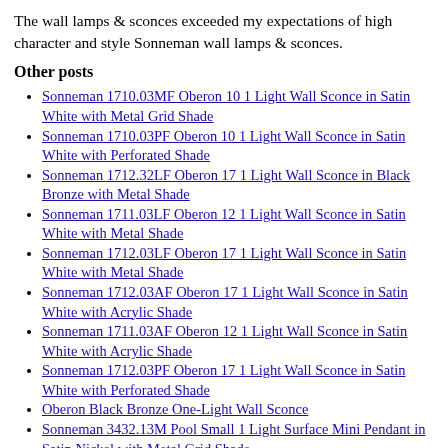The wall lamps & sconces exceeded my expectations of high character and style Sonneman wall lamps & sconces.
Other posts
Sonneman 1710.03MF Oberon 10 1 Light Wall Sconce in Satin White with Metal Grid Shade
Sonneman 1710.03PF Oberon 10 1 Light Wall Sconce in Satin White with Perforated Shade
Sonneman 1712.32LF Oberon 17 1 Light Wall Sconce in Black Bronze with Metal Shade
Sonneman 1711.03LF Oberon 12 1 Light Wall Sconce in Satin White with Metal Shade
Sonneman 1712.03LF Oberon 17 1 Light Wall Sconce in Satin White with Metal Shade
Sonneman 1712.03AF Oberon 17 1 Light Wall Sconce in Satin White with Acrylic Shade
Sonneman 1711.03AF Oberon 12 1 Light Wall Sconce in Satin White with Acrylic Shade
Sonneman 1712.03PF Oberon 17 1 Light Wall Sconce in Satin White with Perforated Shade
Oberon Black Bronze One-Light Wall Sconce
Sonneman 3432.13M Pool Small 1 Light Surface Mini Pendant in Satin Nickel with Metal Grid Shade